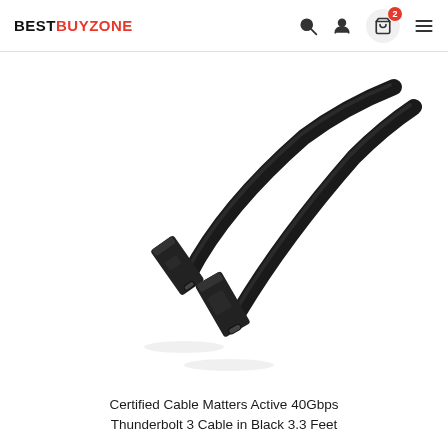BESTBUYZONE
[Figure (photo): Product photo of a black Thunderbolt 3 active cable with two USB-C connectors, shown on white background]
Certified Cable Matters Active 40Gbps Thunderbolt 3 Cable in Black 3.3 Feet